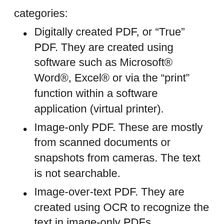categories:
Digitally created PDF, or “True” PDF. They are created using software such as Microsoft® Word®, Excel® or via the “print” function within a software application (virtual printer).
Image-only PDF. These are mostly from scanned documents or snapshots from cameras. The text is not searchable.
Image-over-text PDF. They are created using OCR to recognize the text in image-only PDFs.
Dynamsoft Barcode Reader comes with a PDF library embedded. To get the best result in all 3 types of files, Dynamsoft Barcode Reader comes with a